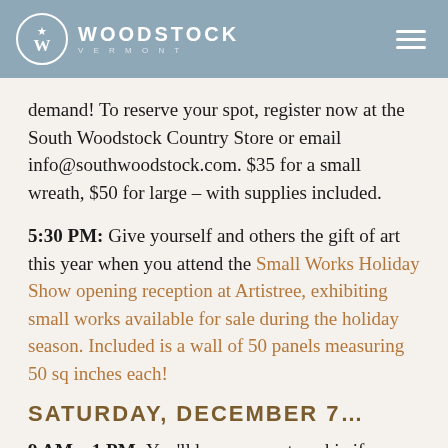WOODSTOCK VERMONT
demand! To reserve your spot, register now at the South Woodstock Country Store or email info@southwoodstock.com. $35 for a small wreath, $50 for large – with supplies included.
5:30 PM: Give yourself and others the gift of art this year when you attend the Small Works Holiday Show opening reception at Artistree, exhibiting small works available for sale during the holiday season. Included is a wall of 50 panels measuring 50 sq inches each!
SATURDAY, DECEMBER 7…
9 AM – 1 PM: You'll be one smart cookie if you put The Thomson's Annual Holiday Bazaar & Cookie Walk on